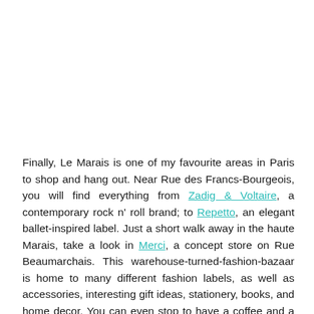Finally, Le Marais is one of my favourite areas in Paris to shop and hang out. Near Rue des Francs-Bourgeois, you will find everything from Zadig & Voltaire, a contemporary rock n' roll brand; to Repetto, an elegant ballet-inspired label. Just a short walk away in the haute Marais, take a look in Merci, a concept store on Rue Beaumarchais. This warehouse-turned-fashion-bazaar is home to many different fashion labels, as well as accessories, interesting gift ideas, stationery, books, and home decor. You can even stop to have a coffee and a chat in their cosy library.